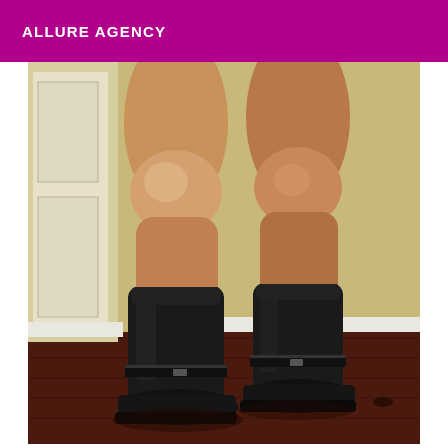ALLURE AGENCY
[Figure (photo): Photograph of a person's legs wearing tall black leather motorcycle/harness boots, standing on a dark wood floor in a room with white door frame and beige walls. The legs are bare above the boots (mid-calf height). Both boots have harness buckle details.]